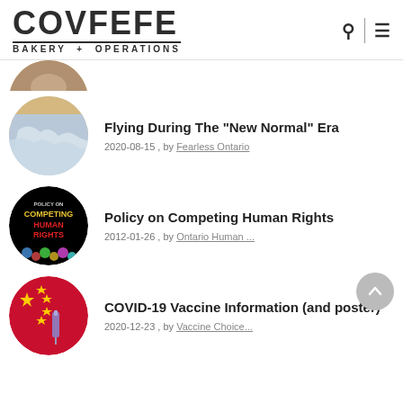COVFEFE BAKERY + OPERATIONS
[Figure (photo): Partial circular thumbnail of a food/bakery item, cropped at top of feed]
Flying During The "New Normal" Era
2020-08-15 , by Fearless Ontario
[Figure (photo): Circular thumbnail showing Policy on Competing Human Rights book cover with marbles]
Policy on Competing Human Rights
2012-01-26 , by Ontario Human ...
[Figure (photo): Circular thumbnail showing COVID-19 vaccine syringe with Chinese flag]
COVID-19 Vaccine Information (and poster)
2020-12-23 , by Vaccine Choice...